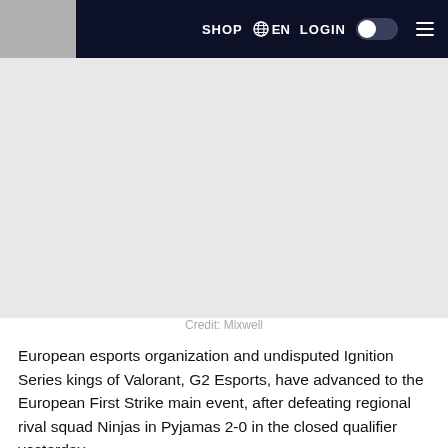SHOP  EN  LOGIN  ☰
[Figure (photo): Image placeholder area, likely a photo related to G2 Esports or Valorant match]
Credit: Mixwell
European esports organization and undisputed Ignition Series kings of Valorant, G2 Esports, have advanced to the European First Strike main event, after defeating regional rival squad Ninjas in Pyjamas 2-0 in the closed qualifier yesterday.
However, G2's path to the main event was shrouded with